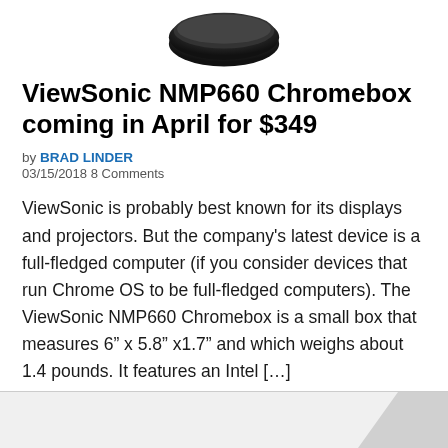[Figure (photo): Partial view of a dark/black device (ViewSonic NMP660 Chromebox) shown from above, cropped at the top of the page]
ViewSonic NMP660 Chromebox coming in April for $349
by BRAD LINDER
03/15/2018 8 Comments
ViewSonic is probably best known for its displays and projectors. But the company's latest device is a full-fledged computer (if you consider devices that run Chrome OS to be full-fledged computers). The ViewSonic NMP660 Chromebox is a small box that measures 6” x 5.8” x1.7” and which weighs about 1.4 pounds. It features an Intel […]